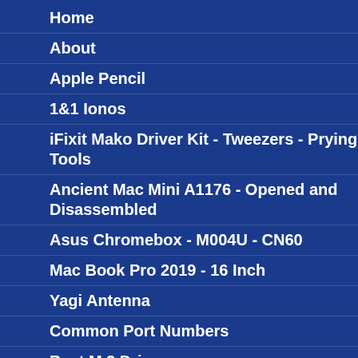Home
About
Apple Pencil
1&1 Ionos
iFixit Mako Driver Kit - Tweezers - Prying Tools
Ancient Mac Mini A1176 - Opened and Disassembled
Asus Chromebox - M004U - CN60
Mac Book Pro 2019 - 16 Inch
Yagi Antenna
Common Port Numbers
Best M.2 Drive
Assembly Language for Intel Based Computers
Basic Electronics Theory and Practice
Core Java 2 - Volume 1 - Fundamental